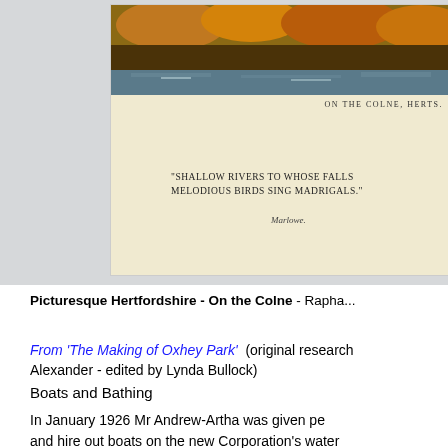[Figure (photo): Vintage postcard showing a scene on the River Colne in Hertfordshire with autumn foliage and water. Text on card reads 'ON THE COLNE, HERTS.' and a quote: SHALLOW RIVERS TO WHOSE FALLS MELODIOUS BIRDS SING MADRIGALS. - Marlowe.]
Picturesque Hertfordshire - On the Colne - Rapha...
From 'The Making of Oxhey Park' (original research ... Alexander - edited by Lynda Bullock)
Boats and Bathing
In January 1926 Mr Andrew-Artha was given pe... and hire out boats on the new Corporation's water... was initially for 3 years and he would pay £30... boating was allowed, otherwise £20 a year. The n...